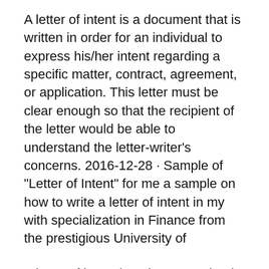A letter of intent is a document that is written in order for an individual to express his/her intent regarding a specific matter, contract, agreement, or application. This letter must be clear enough so that the recipient of the letter would be able to understand the letter-writer's concerns. 2016-12-28 · Sample of "Letter of Intent" for me a sample on how to write a letter of intent in my with specialization in Finance from the prestigious University of
A letter of intent is a document that is written in order for an individual to express his/her intent regarding a specific matter, contract, agreement, or